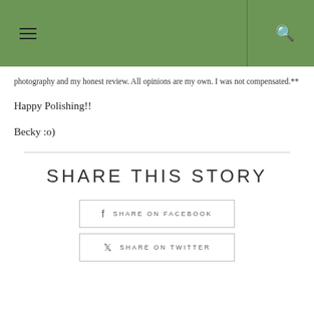Navigation header with hamburger menu and search icon
photography and my honest review. All opinions are my own. I was not compensated.**
Happy Polishing!!
Becky  :o)
SHARE THIS STORY
SHARE ON FACEBOOK
SHARE ON TWITTER